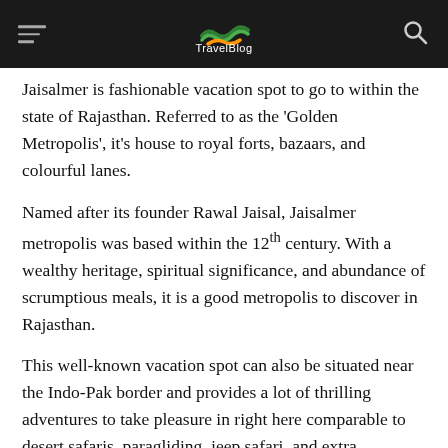TravelBlog
Jaisalmer is fashionable vacation spot to go to within the state of Rajasthan. Referred to as the ‘Golden Metropolis’, it’s house to royal forts, bazaars, and colourful lanes.
Named after its founder Rawal Jaisal, Jaisalmer metropolis was based within the 12th century. With a wealthy heritage, spiritual significance, and abundance of scrumptious meals, it is a good metropolis to discover in Rajasthan.
This well-known vacation spot can also be situated near the Indo-Pak border and provides a lot of thrilling adventures to take pleasure in right here comparable to desert safaris, paragliding, jeep safari, and extra.
Jaisalmer is especially well-known for the Jaisalmer Fort, a UNESCO Heritage Website, which is yellow sandstone